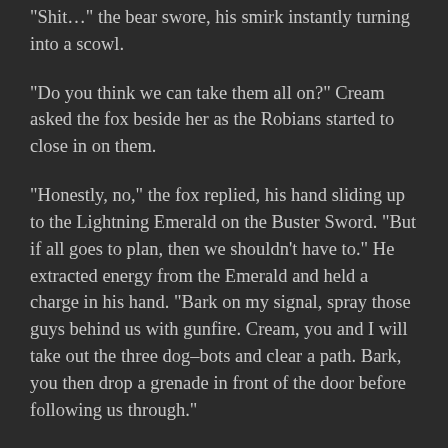“Shit…” the bear swore, his smirk instantly turning into a scowl.
“Do you think we can take them all on?” Cream asked the fox beside her as the Robians started to close in on them.
“Honestly, no,” the fox replied, his hand sliding up to the Lightning Emerald on the Buster Sword. “But if all goes to plan, then we shouldn’t have to.” He extracted energy from the Emerald and held a charge in his hand. “Bark on my signal, spray those guys behind us with gunfire. Cream, you and I will take out the three dog-bots and clear a path. Bark, you then drop a grenade in front of the door before following us through.”